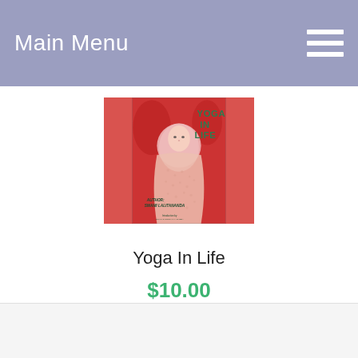Main Menu
[Figure (photo): Book cover of 'Yoga In Life' by Swami Lalitananda, featuring a woman in a white shawl against a red background with green text 'YOGA IN LIFE' and introduction by Swami Jyotir Maya Nanda]
Yoga In Life
$10.00